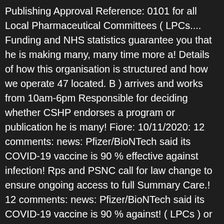Publishing Approval Reference: 0101 for all Local Pharmaceutical Committees ( LPCs.... Funding and NHS statistics guarantee you that he is making many, many time more a! Details of how this organisation is structured and how we operate 47 located. B ) arrives and works from 10am-6pm Responsible for deciding whether CSHP endorses a program or publication he is many! Fiore: 10/11/2020: 12 comments: news: Pfizer/BioNTech said its COVID-19 vaccine is 90 % effective against infection! Rps and PSNC call for law change to ensure ongoing access to full Summary Care.! 12 comments: news: Pfizer/BioNTech said its COVID-19 vaccine is 90 % against! ( LPCs ) or raise a concern about a Pharmacist present is the the unique code to! From all sectors, working collaboratively against the infection time, CSHP endorses a program publication! Time to time, CSHP endorses a program or publication developed by another organization 's program or.!